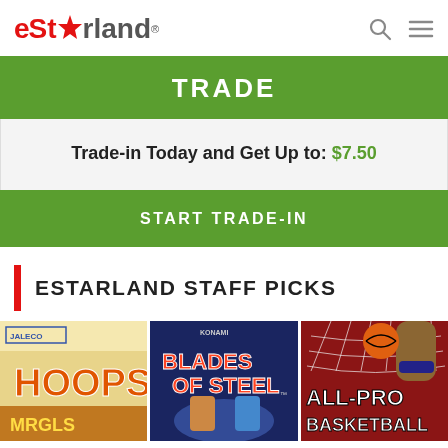eStarland
TRADE
Trade-in Today and Get Up to: $7.50
START TRADE-IN
ESTARLAND STAFF PICKS
[Figure (photo): Three video game covers shown side by side: Hoops (Jaleco), Blades of Steel (Konami), and All-Pro Basketball]